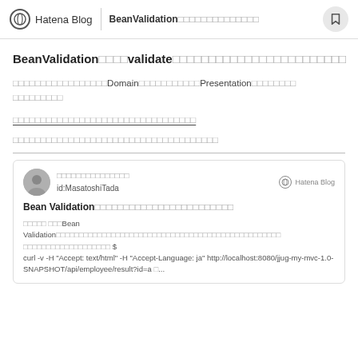Hatena Blog | BeanValidationでのでのでのでのでのののののののの
BeanValidationででででvalidateででででででででででででででででででででで
ででででででででででででででででDomainでででででででででPresentationでででででででででででで
でででででででででででででででででででででででででででででででで
ででででででででででででででででででででででででででででででででででででで
[Figure (screenshot): Hatena Blog card embed showing Bean Validation article by id:MasatoshiTada with description including curl command]